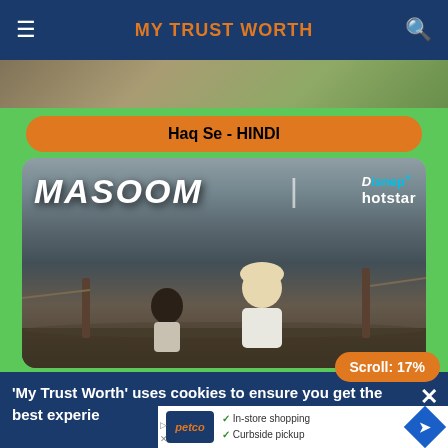MY TRUST WORTH
[Figure (screenshot): Partial image strip showing top of a content card]
Haq Se - HINDI
[Figure (photo): Masoom - Disney+ Hotstar promotional image showing two figures sitting by water with movie title]
Scroll: 17%
'My Trust Worth' uses cookies to ensure you get the best experience
[Figure (screenshot): Petco advertisement showing In-store shopping and Curbside pickup options with navigation diamond icon]